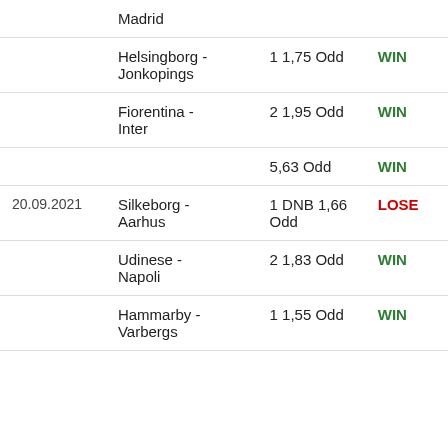| Date | Match | Bet | Result |
| --- | --- | --- | --- |
|  | Madrid |  |  |
|  | Helsingborg - Jonkopings | 1 1,75 Odd | WIN |
|  | Fiorentina - Inter | 2 1,95 Odd | WIN |
|  |  | 5,63 Odd | WIN |
| 20.09.2021 | Silkeborg - Aarhus | 1 DNB 1,66 Odd | LOSE |
|  | Udinese - Napoli | 2 1,83 Odd | WIN |
|  | Hammarby - Varbergs | 1 1,55 Odd | WIN |